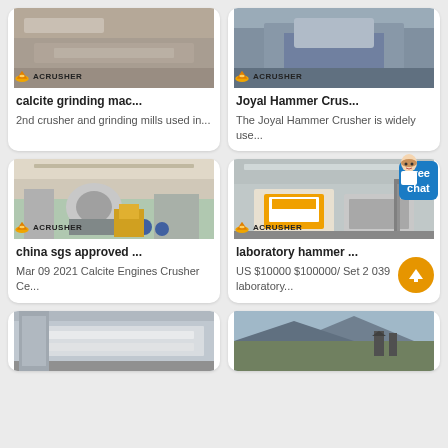[Figure (photo): Top row of two product listing cards with machinery photos and ACRUSHER logos. Left: calcite grinding machine image. Right: Joyal Hammer Crusher image.]
calcite grinding mac...
2nd crusher and grinding mills used in...
Joyal Hammer Crus...
The Joyal Hammer Crusher is widely use...
[Figure (photo): Middle row two product listing cards. Left: china sgs approved crusher in factory. Right: laboratory hammer crusher in factory. Also has Free chat button and scroll-up button overlay.]
china sgs approved ...
Mar 09 2021 Calcite Engines Crusher Ce...
laboratory hammer ...
US $10000 $100000/ Set 2 039 laboratory...
[Figure (photo): Bottom row two partial product listing cards. Left: metal/steel machinery. Right: outdoor quarry/mining scene.]